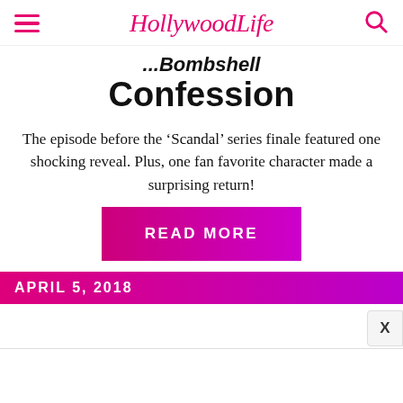HollywoodLife
...Confession
The episode before the ‘Scandal’ series finale featured one shocking reveal. Plus, one fan favorite character made a surprising return!
READ MORE
APRIL 5, 2018